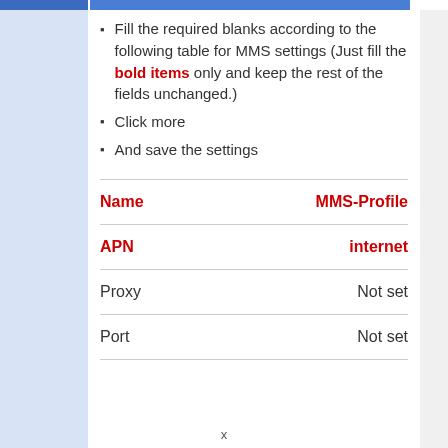Fill the required blanks according to the following table for MMS settings (Just fill the bold items only and keep the rest of the fields unchanged.)
Click more
And save the settings
| Name | MMS-Profile |
| --- | --- |
| APN | internet |
| Proxy | Not set |
| Port | Not set |